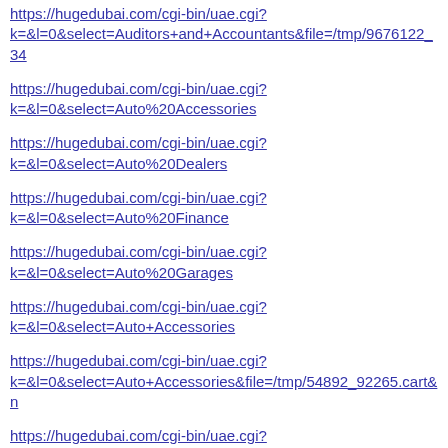https://hugedubai.com/cgi-bin/uae.cgi?k=&l=0&select=Auditors+and+Accountants&file=/tmp/9676122_34
https://hugedubai.com/cgi-bin/uae.cgi?k=&l=0&select=Auto%20Accessories
https://hugedubai.com/cgi-bin/uae.cgi?k=&l=0&select=Auto%20Dealers
https://hugedubai.com/cgi-bin/uae.cgi?k=&l=0&select=Auto%20Finance
https://hugedubai.com/cgi-bin/uae.cgi?k=&l=0&select=Auto%20Garages
https://hugedubai.com/cgi-bin/uae.cgi?k=&l=0&select=Auto+Accessories
https://hugedubai.com/cgi-bin/uae.cgi?k=&l=0&select=Auto+Accessories&file=/tmp/54892_92265.cart&n
https://hugedubai.com/cgi-bin/uae.cgi?k=&l=0&select=Auto+Dealers
https://hugedubai.com/cgi-bin/uae.cgi?